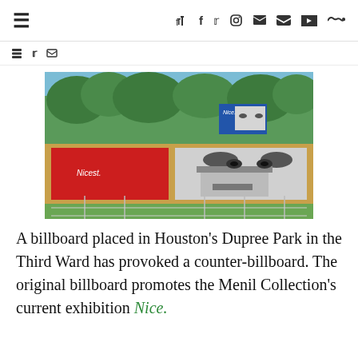☰  f  y  ◯  ▶  ✉  ☁
[Figure (photo): Outdoor billboard installation in a park showing large close-up face in black and white with a red panel reading 'Nicest.' and a blue billboard in the background reading 'Nice.' Located in Houston's Dupree Park, Third Ward.]
A billboard placed in Houston's Dupree Park in the Third Ward has provoked a counter-billboard. The original billboard promotes the Menil Collection's current exhibition Nice.